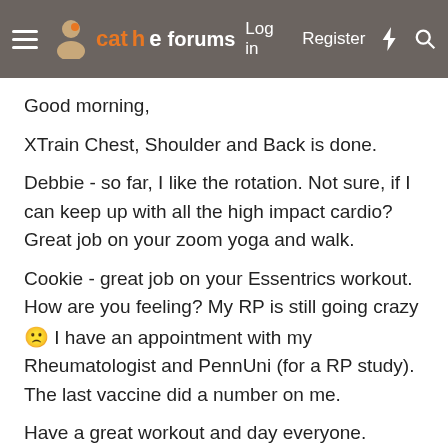cathe forums — Log in | Register
Good morning,
XTrain Chest, Shoulder and Back is done.
Debbie - so far, I like the rotation. Not sure, if I can keep up with all the high impact cardio? Great job on your zoom yoga and walk.
Cookie - great job on your Essentrics workout. How are you feeling? My RP is still going crazy 🙁 I have an appointment with my Rheumatologist and PennUni (for a RP study). The last vaccine did a number on me.
Have a great workout and day everyone.
Cookie57
Cathlete